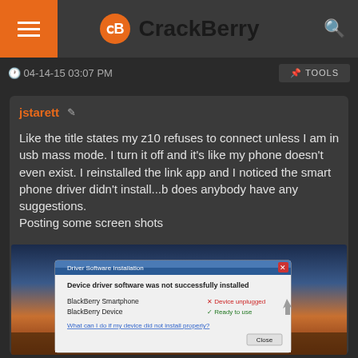CrackBerry
04-14-15 03:07 PM
TOOLS
jstarett
Like the title states my z10 refuses to connect unless I am in usb mass mode. I turn it off and it's like my phone doesn't even exist. I reinstalled the link app and I noticed the smart phone driver didn't install...b does anybody have any suggestions.
Posting some screen shots
[Figure (screenshot): Screenshot of Windows Driver Software Installation dialog box showing 'Device driver software was not successfully installed'. BlackBerry Smartphone shows Device unplugged status with red X, BlackBerry Device shows Ready to use with green checkmark. There is a link 'What can I do if my device did not install properly?' and a Close button. Background shows a sunset sky photo.]